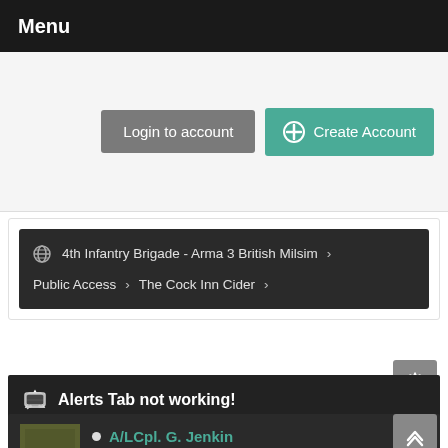Menu
Login to account | Create Account
4th Infantry Brigade - Arma 3 British Milsim > Public Access > The Cock Inn Cider >
Alerts Tab not working!
A/LCpl. G. Jenkin
Retired